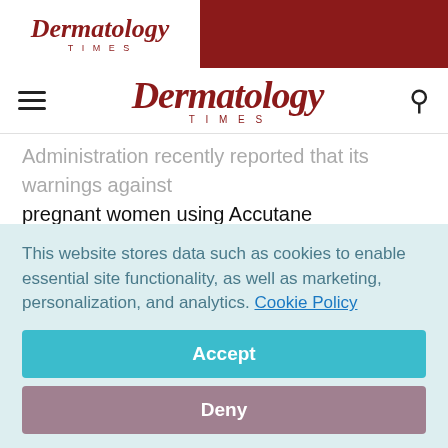Dermatology Times
Dermatology Times
Administration recently reported that its warnings against pregnant women using Accutane (isotretinoin, Roche), along with a massive educational campaign by the manufacturer, have had no significant impact in reducing pregnancies among women taking the drug. Therefore, the federal government has announced it will take stricter
This website stores data such as cookies to enable essential site functionality, as well as marketing, personalization, and analytics. Cookie Policy
Accept
Deny